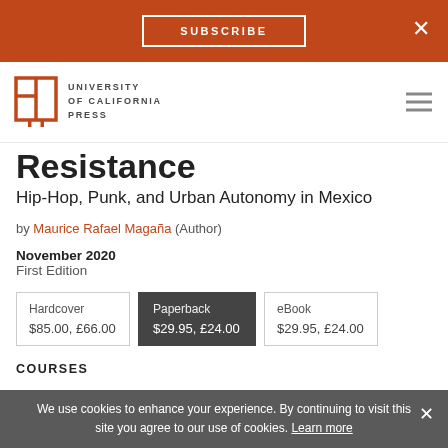SUBSCRIBE
[Figure (logo): University of California Press logo with open book icon and text UNIVERSITY of CALIFORNIA PRESS]
Resistance
Hip-Hop, Punk, and Urban Autonomy in Mexico
by Maurice Rafael Magaña (Author)
November 2020
First Edition
| Format | Price |
| --- | --- |
| Hardcover | $85.00, £66.00 |
| Paperback | $29.95, £24.00 |
| eBook | $29.95, £24.00 |
COURSES
We use cookies to enhance your experience. By continuing to visit this site you agree to our use of cookies. Learn more